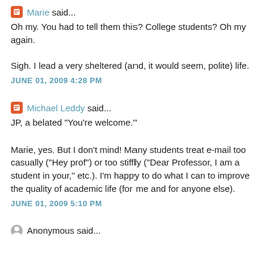Marie said...
Oh my. You had to tell them this? College students? Oh my again.

Sigh. I lead a very sheltered (and, it would seem, polite) life.
JUNE 01, 2009 4:28 PM
Michael Leddy said...
JP, a belated "You're welcome."

Marie, yes. But I don't mind! Many students treat e-mail too casually ("Hey prof") or too stiffly ("Dear Professor, I am a student in your," etc.). I'm happy to do what I can to improve the quality of academic life (for me and for anyone else).
JUNE 01, 2009 5:10 PM
Anonymous said...